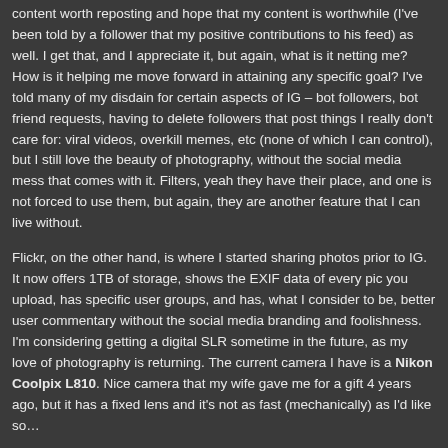content worth reposting and hope that my content is worthwhile (I've been told by a follower that my positive contributions to his feed) as well. I get that, and I appreciate it, but again, what is it netting me? How is it helping me move forward in attaining any specific goal? I've told many of my disdain for certain aspects of IG – bot followers, bot friend requests, having to delete followers that post things I really don't care for: viral videos, overkill memes, etc (none of which I can control), but I still love the beauty of photography, without the social media mess that comes with it. Filters, yeah they have their place, and one is not forced to use them, but again, they are another feature that I can live without.
Flickr, on the other hand, is where I started sharing photos prior to IG. It now offers 1TB of storage, shows the EXIF data of every pic you upload, has specific user groups, and has, what I consider to be, better user commentary without the social media branding and foolishness. I'm considering getting a digital SLR sometime in the future, as my love of photography is returning. The current camera I have is a Nikon Coolpix L810. Nice camera that my wife gave me for a gift 4 years ago, but it has a fixed lens and it's not as fast (mechanically) as I'd like so…